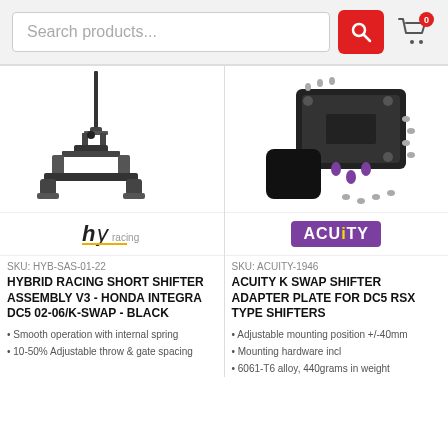Search products...
[Figure (screenshot): Hybrid Racing short shifter assembly product image - black metal shifter mechanism]
[Figure (screenshot): Acuity K Swap Shifter Adapter Plate product image - black aluminum plate with purple hardware and screws]
[Figure (logo): Hybrid Racing brand logo - stylized 'hr' lettermark in black]
[Figure (logo): Acuity brand logo - purple rectangle with white text reading ACUiTY]
SKU: HYB-SAS-01-22
HYBRID RACING SHORT SHIFTER ASSEMBLY V3 - HONDA INTEGRA DC5 02-06/K-SWAP - BLACK
• Smooth operation with internal spring
• 10-50% Adjustable throw & gate spacing
SKU: ACUITY-1946
ACUITY K SWAP SHIFTER ADAPTER PLATE FOR DC5 RSX TYPE SHIFTERS
• Adjustable mounting position +/-40mm
• Mounting hardware incl
• 6061-T6 alloy, 440grams in weight